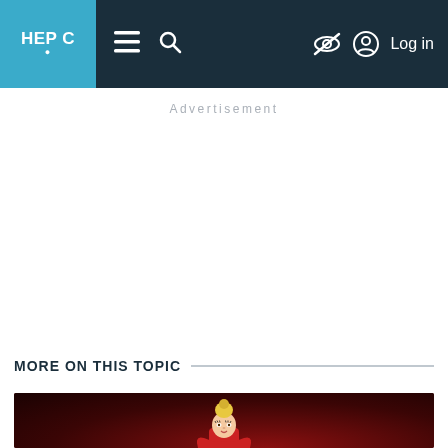HEP C — navigation bar with menu, search, hide, and log in icons
Advertisement
MORE ON THIS TOPIC
[Figure (illustration): Comic-style illustration of a woman with blonde hair in a bun, wearing a red outfit, on a dark red background. Partial view at bottom of page.]